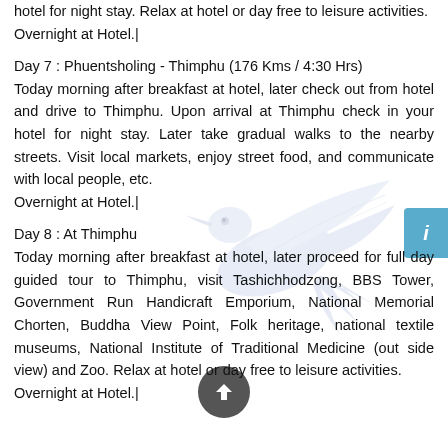hotel for night stay. Relax at hotel or day free to leisure activities.
Overnight at Hotel.|
Day 7 : Phuentsholing - Thimphu (176 Kms / 4:30 Hrs)
Today morning after breakfast at hotel, later check out from hotel and drive to Thimphu. Upon arrival at Thimphu check in your hotel for night stay. Later take gradual walks to the nearby streets. Visit local markets, enjoy street food, and communicate with local people, etc.
Overnight at Hotel.|
Day 8 : At Thimphu
Today morning after breakfast at hotel, later proceed for full day guided tour to Thimphu, visit Tashichhodzong, BBS Tower, Government Run Handicraft Emporium, National Memorial Chorten, Buddha View Point, Folk heritage, national textile museums, National Institute of Traditional Medicine (out side view) and Zoo. Relax at hotel or day free to leisure activities.
Overnight at Hotel.|